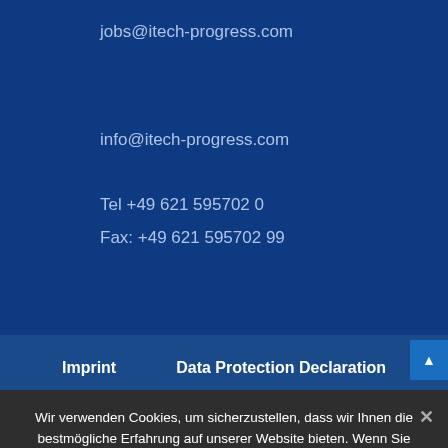jobs@itech-progress.com
info@itech-progress.com
Tel +49 621 595702 0
Fax: +49 621 595702 99
Imprint   Data Protection Declaration
Wir verwenden Cookies, um sicherzustellen, dass wir Ihnen die bestmögliche Erfahrung auf unserer Website bieten. Wenn Sie diese Website weiterhin nutzen, gehen wir davon aus, dass Sie damit zufrieden sind.